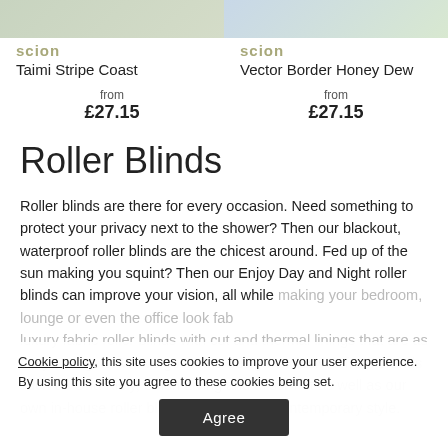[Figure (photo): Scion Taimi Stripe Coast fabric swatch image at top left]
Taimi Stripe Coast
[Figure (photo): Scion Vector Border Honey Dew fabric swatch image at top right]
Vector Border Honey Dew
from £27.15
from £27.15
Roller Blinds
Roller blinds are there for every occasion. Need something to protect your privacy next to the shower? Then our blackout, waterproof roller blinds are the chicest around. Fed up of the sun making you squint? Then our Enjoy Day and Night roller blinds can improve your vision, all while making your bedroom, lounge or even the office look fab
luxury fabric roller blinds with cut and thermal linings that are as cosy as it gets. We've got some design exclusives from brands such as Orla Kiely, Scion Living and MissPrint as well as our own in-house roller blinds bursting with contemporary style.
Cookie policy, this site uses cookies to improve your user experience. By using this site you agree to these cookies being set.
Agree